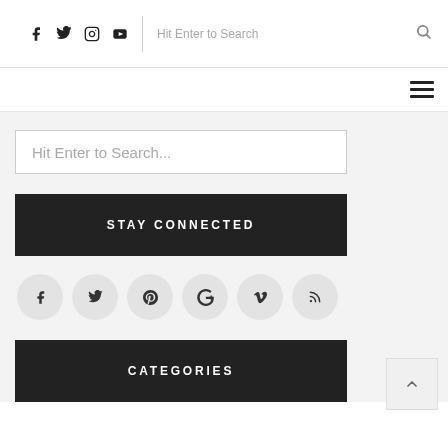Social icons (Facebook, Twitter, Instagram, YouTube) | Hit Enter to Search | Search icon | Hamburger menu
Hit Enter to Search...
STAY CONNECTED
[Figure (infographic): Six social media icon circles: Facebook, Twitter, Pinterest, Google+, Vimeo, RSS]
CATEGORIES